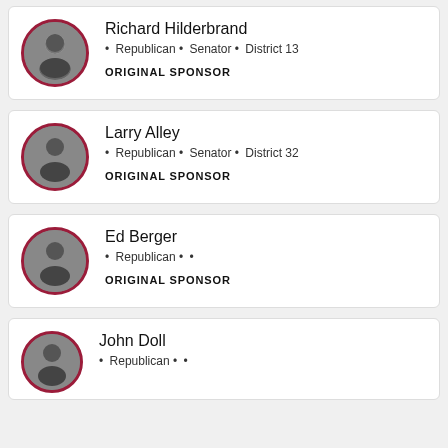Richard Hilderbrand · Republican · Senator · District 13 · ORIGINAL SPONSOR
Larry Alley · Republican · Senator · District 32 · ORIGINAL SPONSOR
Ed Berger · Republican · · · ORIGINAL SPONSOR
John Doll · Republican · · ·